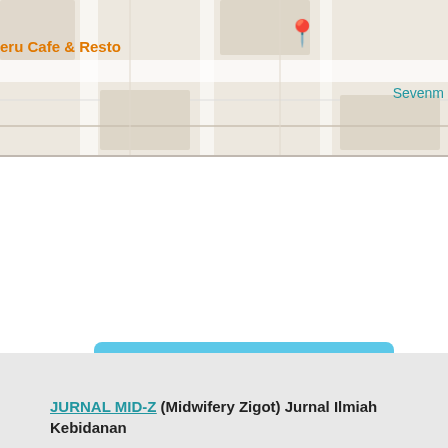[Figure (map): Partial map screenshot showing 'eru Cafe & Resto' label with orange pin marker and 'Sevenm' text on the right]
[Figure (infographic): Visitors flag counter widget showing visitor counts by country: ID 9,578 | SG 16 | US 353 | IE 15 | MY 26 | FR 13 | RU 23 | GB 12 | IN 18 | CN 9, with FLAG counter branding]
Make a Submission
JURNAL MID-Z (Midwifery Zigot) Jurnal Ilmiah Kebidanan